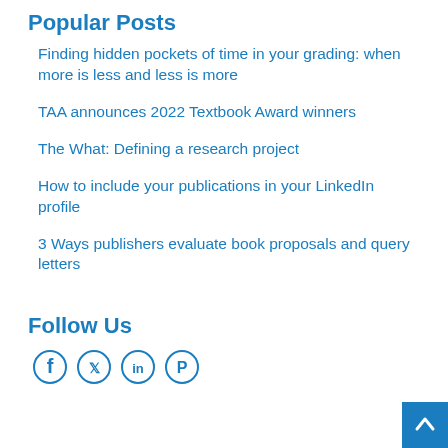Popular Posts
Finding hidden pockets of time in your grading: when more is less and less is more
TAA announces 2022 Textbook Award winners
The What: Defining a research project
How to include your publications in your LinkedIn profile
3 Ways publishers evaluate book proposals and query letters
Follow Us
[Figure (illustration): Social media icons for Facebook, Twitter, LinkedIn, and Pinterest in blue]